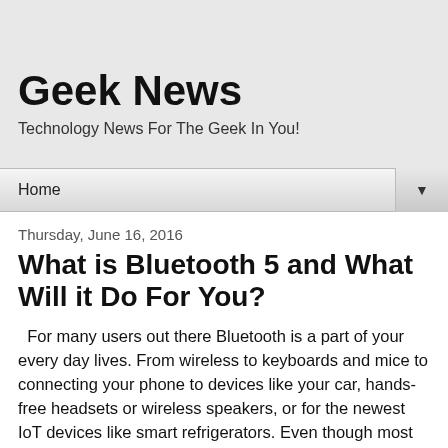Geek News
Technology News For The Geek In You!
Home ▼
Thursday, June 16, 2016
What is Bluetooth 5 and What Will it Do For You?
For many users out there Bluetooth is a part of your every day lives. From wireless to keyboards and mice to connecting your phone to devices like your car, hands-free headsets or wireless speakers, or for the newest IoT devices like smart refrigerators. Even though most of us use it every day most don't know that the Bluetooth standard is ever